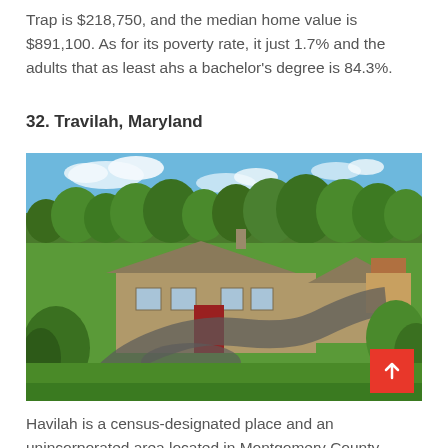Trap is $218,750, and the median home value is $891,100. As for its poverty rate, it just 1.7% and the adults that as least ahs a bachelor's degree is 84.3%.
32. Travilah, Maryland
[Figure (photo): Aerial view of a large estate home with stone exterior surrounded by lush green lawn and mature trees, with a curved driveway, in a suburban Maryland setting.]
Havilah is a census-designated place and an unincorporated area located in Montgomery County,